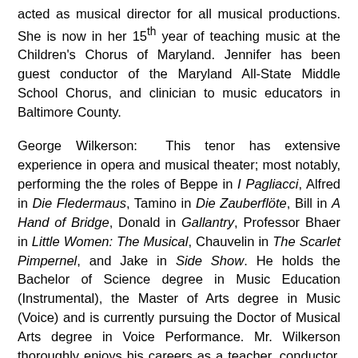acted as musical director for all musical productions. She is now in her 15th year of teaching music at the Children's Chorus of Maryland. Jennifer has been guest conductor of the Maryland All-State Middle School Chorus, and clinician to music educators in Baltimore County.
George Wilkerson:  This tenor has extensive experience in opera and musical theater; most notably, performing the the roles of Beppe in I Pagliacci, Alfred in Die Fledermaus, Tamino in Die Zauberflöte, Bill in A Hand of Bridge, Donald in Gallantry, Professor Bhaer in Little Women: The Musical, Chauvelin in The Scarlet Pimpernel, and Jake in Side Show. He holds the Bachelor of Science degree in Music Education (Instrumental), the Master of Arts degree in Music (Voice) and is currently pursuing the Doctor of Musical Arts degree in Voice Performance. Mr. Wilkerson thoroughly enjoys his careers as a teacher, conductor, percussionist, and saxophonist and has taught band, choir, and applied voice for over 15 years.